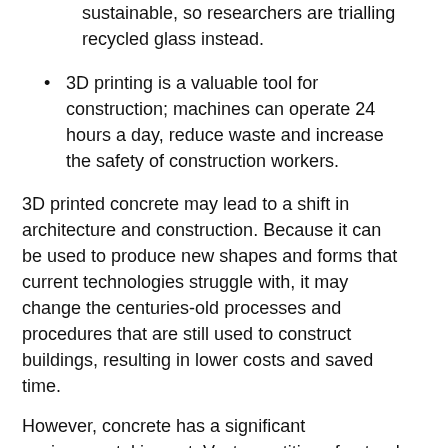sustainable, so researchers are trialling recycled glass instead.
3D printing is a valuable tool for construction; machines can operate 24 hours a day, reduce waste and increase the safety of construction workers.
3D printed concrete may lead to a shift in architecture and construction. Because it can be used to produce new shapes and forms that current technologies struggle with, it may change the centuries-old processes and procedures that are still used to construct buildings, resulting in lower costs and saved time.
However, concrete has a significant environmental impact. Vast quantities of natural sand are currently used to meet the world's insatiable appetite for concrete, at great cost to the environment. In general, the construction industry struggles with sustainability. It creates around 35% of all landfill waste globally.
Our new research suggests a way to curb this impact. We have trialled using recycled glass as a component of concrete for 3D